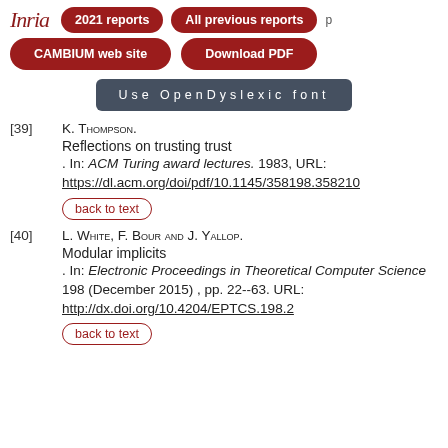Inria | 2021 reports | All previous reports | CAMBIUM web site | Download PDF | Use OpenDyslexic font
[39] K. Thompson. Reflections on trusting trust. In: ACM Turing award lectures. 1983, URL: https://dl.acm.org/doi/pdf/10.1145/358198.358210
back to text
[40] L. White, F. Bour and J. Yallop. Modular implicits. In: Electronic Proceedings in Theoretical Computer Science 198 (December 2015), pp. 22--63. URL: http://dx.doi.org/10.4204/EPTCS.198.2
back to text